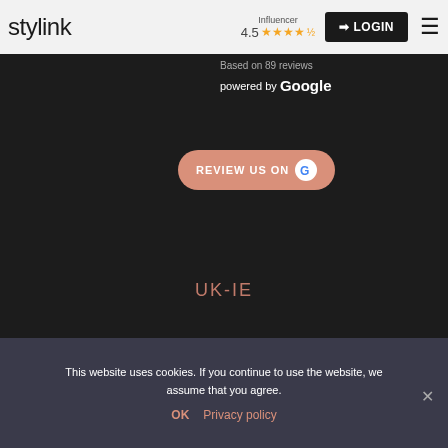[Figure (logo): stylink logo in dark text on light grey header bar]
Influencer
4.5 ★★★★½
Based on 89 reviews
powered by Google
[Figure (other): REVIEW US ON Google button with Google G logo]
UK-IE
© 2022 stylink | All rights reserved.
This website uses cookies. If you continue to use the website, we assume that you agree.
OK  Privacy policy